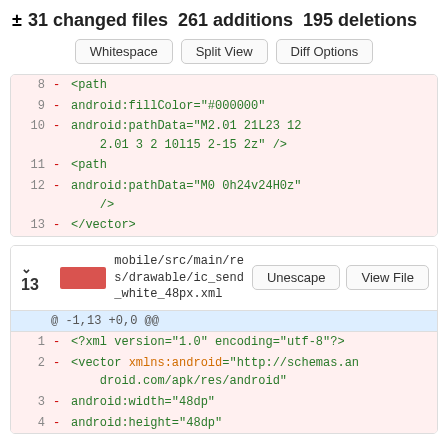± 31 changed files 261 additions 195 deletions
[Figure (screenshot): Buttons: Whitespace, Split View, Diff Options]
Diff code block showing deleted lines 8-13 of a vector XML file with path and fillColor attributes
v 13 [red box] mobile/src/main/res/drawable/ic_send_white_48px.xml | Unescape | View File
@ -1,13 +0,0 @@
1 - <?xml version="1.0" encoding="utf-8"?>
2 - <vector xmlns:android="http://schemas.android.com/apk/res/android"
3 -     android:width="48dp"
4 -     android:height="48dp"